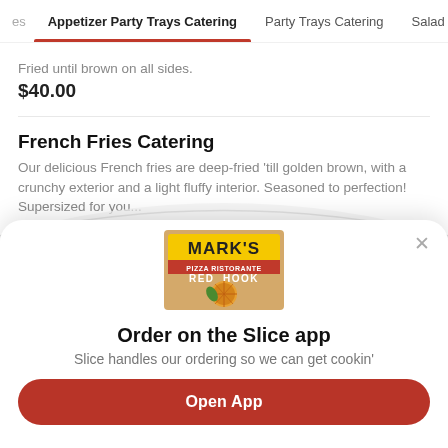es  Appetizer Party Trays Catering  Party Trays Catering  Salad
Fried until brown on all sides.
$40.00
French Fries Catering
Our delicious French fries are deep-fried 'till golden brown, with a crunchy exterior and a light fluffy interior. Seasoned to perfection! Supersized for you...
$32.00
[Figure (logo): Mark's Pizza Ristorante Red Hook logo with pizza graphic]
Order on the Slice app
Slice handles our ordering so we can get cookin'
Open App